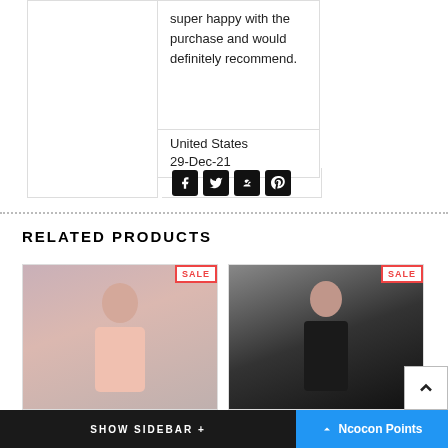super happy with the purchase and would definitely recommend.
United States
29-Dec-21
[Figure (other): Social media share icons: Facebook, Twitter, Google+, Pinterest]
RELATED PRODUCTS
[Figure (photo): Product photo: woman wearing pink top with sunglasses, SALE badge]
[Figure (photo): Product photo: woman in black floral dress, SALE badge]
SHOW SIDEBAR +
Ncocon Points